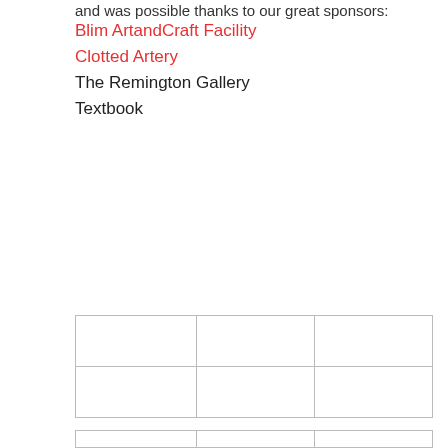and was possible thanks to our great sponsors:
Blim ArtandCraft Facility
Clotted Artery
The Remington Gallery
Textbook
|  |  |  |
|  |  |  |
|  |  |  |